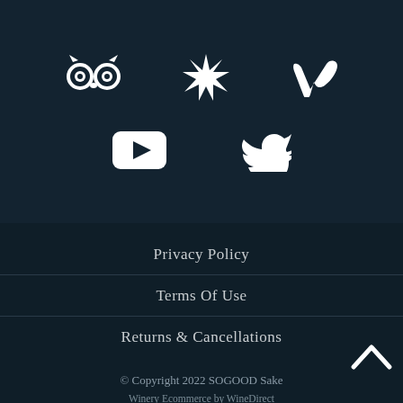[Figure (illustration): Social media icons row: TripAdvisor owl icon, Yelp icon, Vimeo V icon on dark teal background]
[Figure (illustration): Social media icons row: YouTube play button icon, Twitter bird icon on dark teal background]
Privacy Policy
Terms Of Use
Returns & Cancellations
© Copyright 2022 SOGOOD Sake
Winery Ecommerce by WineDirect